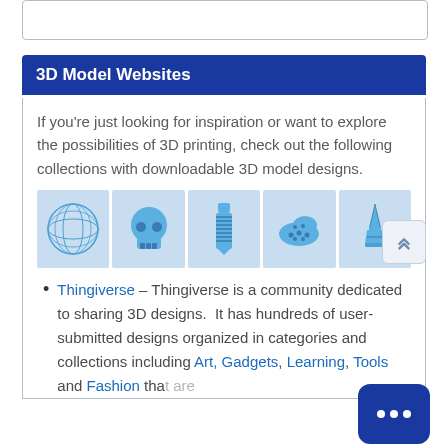3D Model Websites
If you're just looking for inspiration or want to explore the possibilities of 3D printing, check out the following collections with downloadable 3D model designs.
[Figure (photo): Five blue 3D printed models: a lattice sphere, a skull, a bolt/screw, a shoe insole with holes, and the Eiffel Tower]
Thingiverse – Thingiverse is a community dedicated to sharing 3D designs. It has hundreds of user-submitted designs organized in categories and collections including Art, Gadgets, Learning, Tools and Fashion that are...